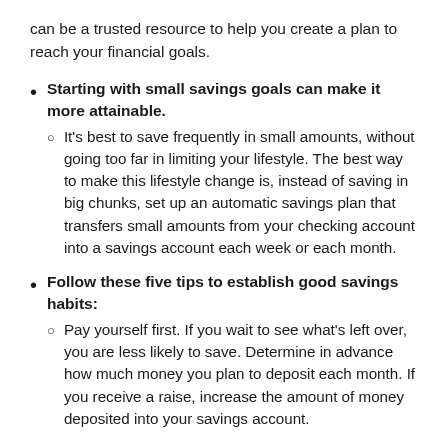can be a trusted resource to help you create a plan to reach your financial goals.
Starting with small savings goals can make it more attainable. It's best to save frequently in small amounts, without going too far in limiting your lifestyle. The best way to make this lifestyle change is, instead of saving in big chunks, set up an automatic savings plan that transfers small amounts from your checking account into a savings account each week or each month.
Follow these five tips to establish good savings habits: Pay yourself first. If you wait to see what's left over, you are less likely to save. Determine in advance how much money you plan to deposit each month. If you receive a raise, increase the amount of money deposited into your savings account.